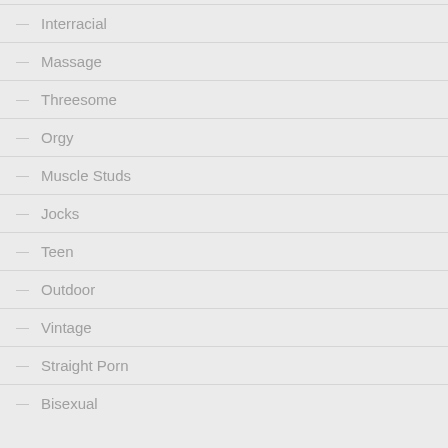Interracial
Massage
Threesome
Orgy
Muscle Studs
Jocks
Teen
Outdoor
Vintage
Straight Porn
Bisexual